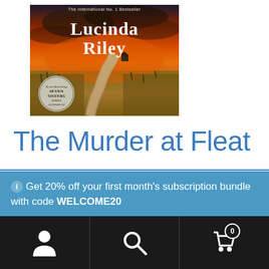[Figure (illustration): Book cover for 'The Murder at Fleat House' by Lucinda Riley. Shows an orange/red dramatic sky with dark clouds, a winding path through marshland. Text on cover: 'The International No. 1 Bestseller', 'Lucinda Riley', and a circular badge reading 'By the Bestselling Seven Sisters Series Author Of'.]
The Murder at Fleat
Get 20% off your first month's subscription bundle with code WELCOME20
Dismiss